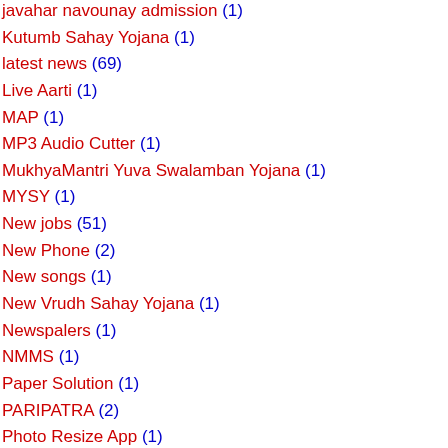javahar navounay admission (1)
Kutumb Sahay Yojana (1)
latest news (69)
Live Aarti (1)
MAP (1)
MP3 Audio Cutter (1)
MukhyaMantri Yuva Swalamban Yojana (1)
MYSY (1)
New jobs (51)
New Phone (2)
New songs (1)
New Vrudh Sahay Yojana (1)
Newspalers (1)
NMMS (1)
Paper Solution (1)
PARIPATRA (2)
Photo Resize App (1)
PM Kishan Sanman Nidhi Yojana (2)
Police Constable 2020 (2)